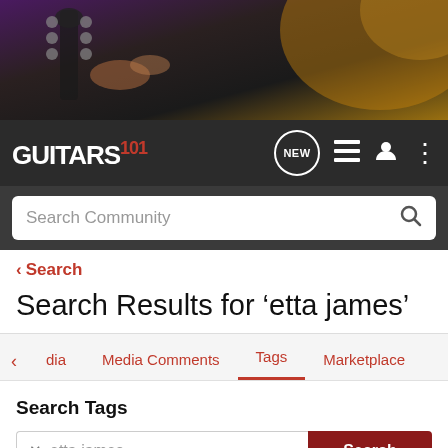[Figure (photo): Hero banner showing a close-up of a guitar headstock and tuning pegs with blurred background, warm orange and purple lighting]
GUITARS 101 [logo] — navigation bar with NEW button, list icon, user icon, and more options icon
Search Community [search bar]
< Search
Search Results for ‘etta james’
< dia   Media Comments   Tags   Marketplace
Search Tags
X etta james   Search